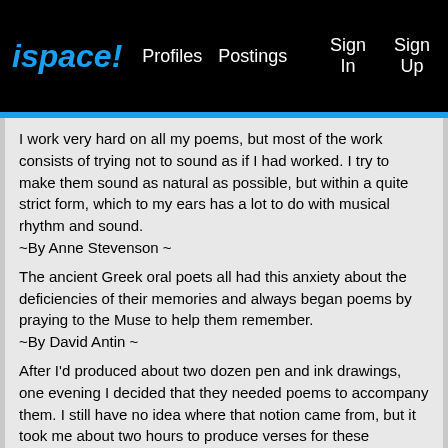ispace! Profiles Postings Sign In Sign Up
I work very hard on all my poems, but most of the work consists of trying not to sound as if I had worked. I try to make them sound as natural as possible, but within a quite strict form, which to my ears has a lot to do with musical rhythm and sound.
~By Anne Stevenson ~
The ancient Greek oral poets all had this anxiety about the deficiencies of their memories and always began poems by praying to the Muse to help them remember.
~By David Antin ~
After I'd produced about two dozen pen and ink drawings, one evening I decided that they needed poems to accompany them. I still have no idea where that notion came from, but it took me about two hours to produce verses for these creatures.
~By Jack Prelutsky ~
Don't be too harsh to these poems until they're typed. I always think typescript lends some sort of certainty: at least, if the things are bad then, they appear to be bad with conviction.